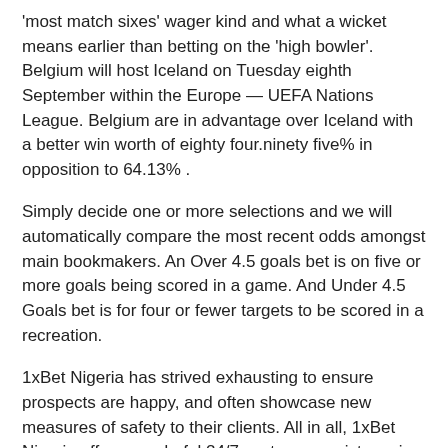'most match sixes' wager kind and what a wicket means earlier than betting on the 'high bowler'. Belgium will host Iceland on Tuesday eighth September within the Europe — UEFA Nations League. Belgium are in advantage over Iceland with a better win worth of eighty four.ninety five% in opposition to 64.13% .
Simply decide one or more selections and we will automatically compare the most recent odds amongst main bookmakers. An Over 4.5 goals bet is on five or more goals being scored in a game. And Under 4.5 Goals bet is for four or fewer targets to be scored in a recreation.
1xBet Nigeria has strived exhausting to ensure prospects are happy, and often showcase new measures of safety to their clients. All in all, 1xBet Nigeria offers wonderful 24/7 customer assist service. For sports having a reside streaming choice, a "Live" symbol will be present underneath a market.